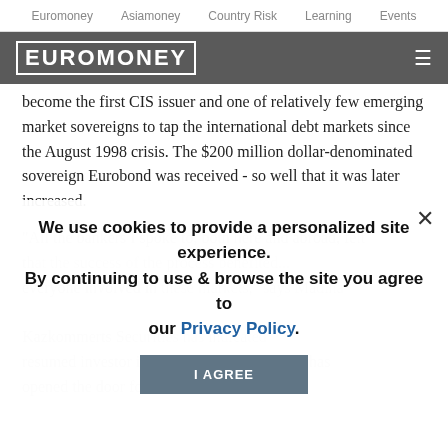Euromoney   Asiamoney   Country Risk   Learning   Events
[Figure (logo): Euromoney logo in white text on dark grey header bar with hamburger menu icon]
become the first CIS issuer and one of relatively few emerging market sovereigns to tap the international debt markets since the August 1998 crisis. The $200 million dollar-denominated sovereign Eurobond was received - so well that it was later increased.
"All the bankers I spoke to, both here and abroad, felt that the success of the process benefited...everyone involved in these markets," says Madina Kazkommerts Securities has indicated resumed investor interest in Kazakhstan and has opened the door for other issues."
We use cookies to provide a personalized site experience.
By continuing to use & browse the site you agree to our Privacy Policy.
I AGREE
The $200 million five-year issue carried a steep 13.625% coupon and at offer...